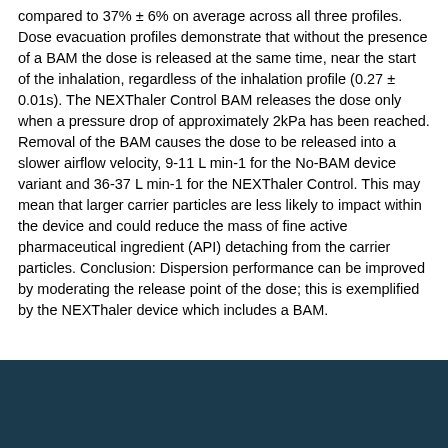compared to 37% ± 6% on average across all three profiles. Dose evacuation profiles demonstrate that without the presence of a BAM the dose is released at the same time, near the start of the inhalation, regardless of the inhalation profile (0.27 ± 0.01s). The NEXThaler Control BAM releases the dose only when a pressure drop of approximately 2kPa has been reached. Removal of the BAM causes the dose to be released into a slower airflow velocity, 9-11 L min-1 for the No-BAM device variant and 36-37 L min-1 for the NEXThaler Control. This may mean that larger carrier particles are less likely to impact within the device and could reduce the mass of fine active pharmaceutical ingredient (API) detaching from the carrier particles. Conclusion: Dispersion performance can be improved by moderating the release point of the dose; this is exemplified by the NEXThaler device which includes a BAM.